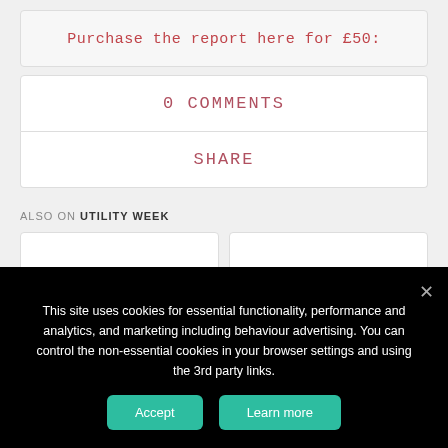Purchase the report here for £50:
0 COMMENTS
SHARE
ALSO ON UTILITY WEEK
This site uses cookies for essential functionality, performance and analytics, and marketing including behaviour advertising. You can control the non-essential cookies in your browser settings and using the 3rd party links.